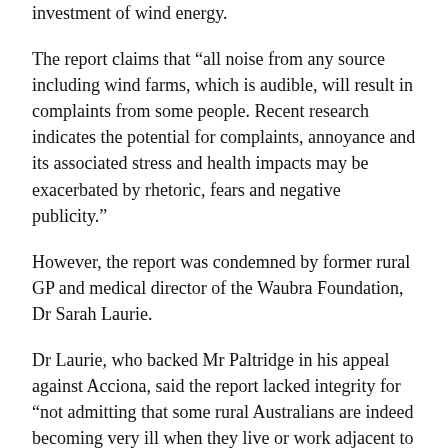investment of wind energy.
The report claims that “all noise from any source including wind farms, which is audible, will result in complaints from some people. Recent research indicates the potential for complaints, annoyance and its associated stress and health impacts may be exacerbated by rhetoric, fears and negative publicity.”
However, the report was condemned by former rural GP and medical director of the Waubra Foundation, Dr Sarah Laurie.
Dr Laurie, who backed Mr Paltridge in his appeal against Acciona, said the report lacked integrity for “not admitting that some rural Australians are indeed becoming very ill when they live or work adjacent to wind turbines”.
“The major issue for families living in the vicinity of wind turbines is noise for extended periods of time leading to chronic sleep deprivation, which itself is